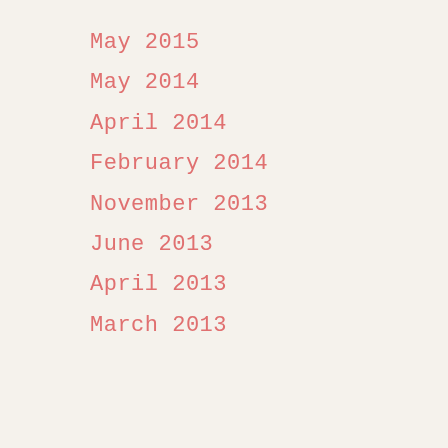May 2015
May 2014
April 2014
February 2014
November 2013
June 2013
April 2013
March 2013